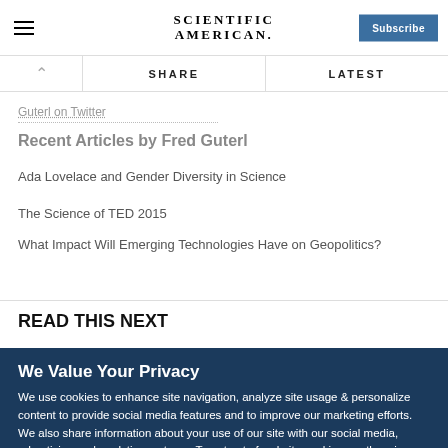SCIENTIFIC AMERICAN
Guterl on Twitter
Recent Articles by Fred Guterl
Ada Lovelace and Gender Diversity in Science
The Science of TED 2015
What Impact Will Emerging Technologies Have on Geopolitics?
READ THIS NEXT
We Value Your Privacy
We use cookies to enhance site navigation, analyze site usage & personalize content to provide social media features and to improve our marketing efforts. We also share information about your use of our site with our social media, advertising and analytics partners. To opt out of website cookies or otherwise manage your cookie settings, click on Cookie Settings. View Our